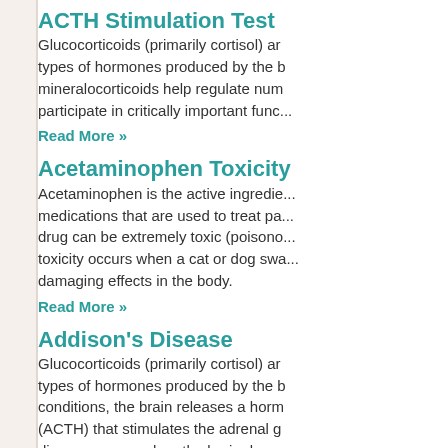ACTH Stimulation Test
Glucocorticoids (primarily cortisol) and mineralocorticoids help regulate numerous types of hormones produced by the body. Both glucocorticoids and mineralocorticoids help regulate numerous conditions and participate in critically important func...
Read More »
Acetaminophen Toxicity
Acetaminophen is the active ingredient in medications that are used to treat pa... drug can be extremely toxic (poisono... toxicity occurs when a cat or dog swa... damaging effects in the body.
Read More »
Addison's Disease
Glucocorticoids (primarily cortisol) and types of hormones produced by the b... conditions, the brain releases a horm... (ACTH) that stimulates the adrenal g... disease occurs when the brain doesn... the adrenal glands fail to release tho...